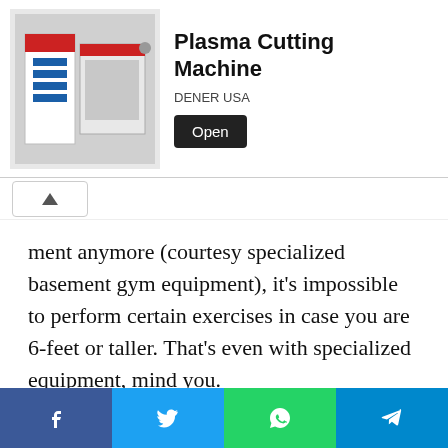[Figure (infographic): Advertisement banner for Plasma Cutting Machine by DENER USA, with product image on left, bold title text, brand name, and Open button.]
ment anymore (courtesy specialized basement gym equipment), it's impossible to perform certain exercises in case you are 6-feet or taller. That's even with specialized equipment, mind you.
Moisture
[Figure (photo): Photo of a basement corner showing white painted cinder block walls with mold/moisture stains and a brown wooden floor.]
[Figure (infographic): Social media sharing bar with Facebook, Twitter, WhatsApp, and Telegram buttons at the bottom of the page.]